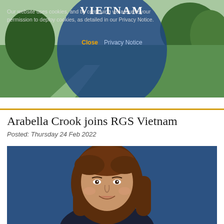[Figure (photo): Website banner showing green landscape with blue circular overlay containing the word VIETNAM, and a cookie consent notice overlay]
Arabella Crook joins RGS Vietnam
Posted: Thursday 24 Feb 2022
[Figure (photo): Professional headshot of a woman with long brown hair against a dark blue background, smiling at camera, wearing a dark top]